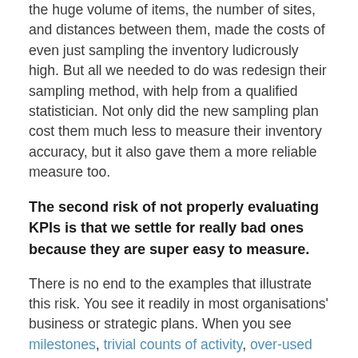the huge volume of items, the number of sites, and distances between them, made the costs of even just sampling the inventory ludicrously high. But all we needed to do was redesign their sampling method, with help from a qualified statistician. Not only did the new sampling plan cost them much less to measure their inventory accuracy, but it also gave them a more reliable measure too.
The second risk of not properly evaluating KPIs is that we settle for really bad ones because they are super easy to measure.
There is no end to the examples that illustrate this risk. You see it readily in most organisations' business or strategic plans. When you see milestones, trivial counts of activity, over-used traditional measures, and anything that was designed to fit existing data, you're looking at the second risk in full swing.